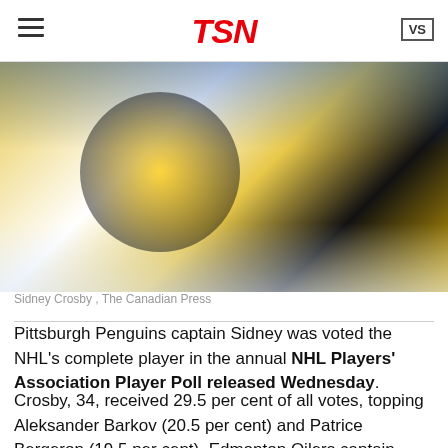TSN
[Figure (photo): Pittsburgh Penguins player wearing white and gold jersey with captain C, number 8, holding a hockey stick on the ice with crowd in background]
Sidney Crosby , The Canadian Press
Pittsburgh Penguins captain Sidney was voted the NHL's complete player in the annual NHL Players' Association Player Poll released Wednesday.
Crosby, 34, received 29.5 per cent of all votes, topping Aleksander Barkov (20.5 per cent) and Patrice Bergeron (19.5 per cent). Edmonton Oilers captain Connor McDavid finished fourth in voting with 9.2 per cent of all votes, while Los Angeles Kings centre Anze Kopitar rounded out the top five with 2.6 per cent.